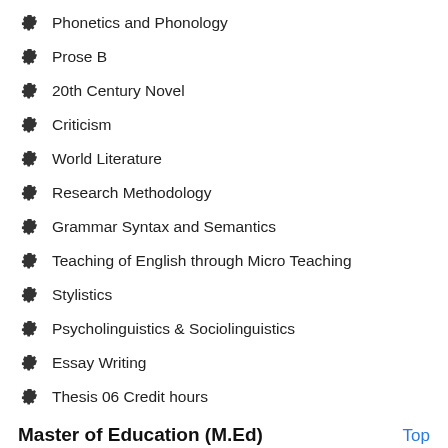Phonetics and Phonology
Prose B
20th Century Novel
Criticism
World Literature
Research Methodology
Grammar Syntax and Semantics
Teaching of English through Micro Teaching
Stylistics
Psycholinguistics & Sociolinguistics
Essay Writing
Thesis 06 Credit hours
Master of Education (M.Ed)
The Program is designed for the professional development of practitioners in the field of education. It is structured to provide students with a broad and practical awareness of educational theory, practice and policy.